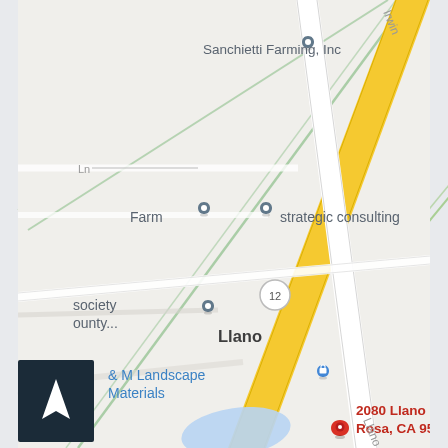[Figure (map): Google Maps screenshot showing the area around 2080 Llano Rd, Santa Rosa, CA 95407. Shows roads including a yellow highway (Route 12) and white roads. Location markers for Sanchietti Farming Inc, Farm, strategic consulting, Society County, and M Landscape Materials. The main destination pin (red) marks 2080 Llano Rd, Santa Rosa, CA 95407. A blue water body and navigation compass arrow visible. The area label 'Llano' is shown near Route 12.]